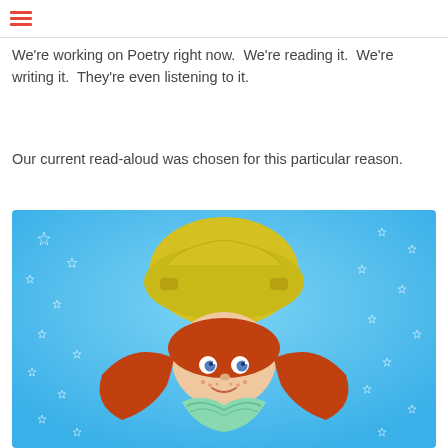[hamburger menu] [share icon] [search icon]
We're working on Poetry right now.  We're reading it.  We're writing it.  They're even listening to it.
Our current read-aloud was chosen for this particular reason.
[Figure (illustration): Illustration of a cartoon red-haired girl with pigtails and freckles, wearing a yellow sweater and mint green ruffled collar, shown upside down against a light blue background decorated with white star outlines.]